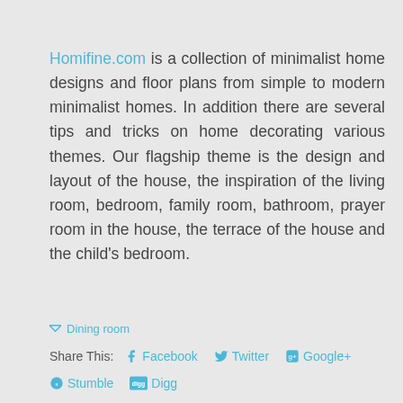Homifine.com is a collection of minimalist home designs and floor plans from simple to modern minimalist homes. In addition there are several tips and tricks on home decorating various themes. Our flagship theme is the design and layout of the house, the inspiration of the living room, bedroom, family room, bathroom, prayer room in the house, the terrace of the house and the child's bedroom.
Dining room
Share This: Facebook Twitter Google+ Stumble Digg